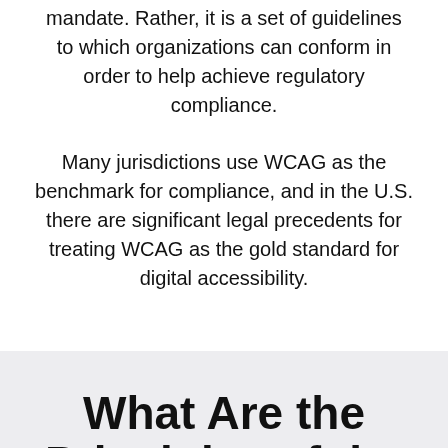mandate. Rather, it is a set of guidelines to which organizations can conform in order to help achieve regulatory compliance.
Many jurisdictions use WCAG as the benchmark for compliance, and in the U.S. there are significant legal precedents for treating WCAG as the gold standard for digital accessibility.
What Are the Principles of the Web Content Accessibility